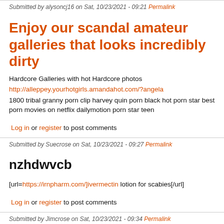Submitted by alysoncj16 on Sat, 10/23/2021 - 09:21 Permalink
Enjoy our scandal amateur galleries that looks incredibly dirty
Hardcore Galleries with hot Hardcore photos
http://alleppey.yourhotgirls.amandahot.com/?angela
1800 tribal granny porn clip harvey quin porn black hot porn star best porn movies on netflix dailymotion porn star teen
Log in or register to post comments
Submitted by Suecrose on Sat, 10/23/2021 - 09:27 Permalink
nzhdwvcb
[url=https://irnpharm.com/]ivermectin lotion for scabies[/url]
Log in or register to post comments
Submitted by Jimcrose on Sat, 10/23/2021 - 09:34 Permalink
wezqikbw